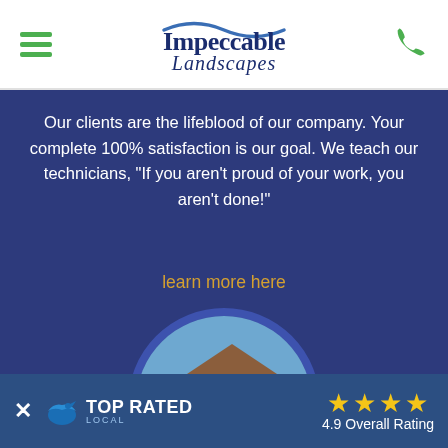[Figure (logo): Impeccable Landscapes logo with blue wave above text]
Our clients are the lifeblood of our company. Your complete 100% satisfaction is our goal. We teach our technicians, "If you aren't proud of your work, you aren't done!"
learn more here
[Figure (photo): Circular photo of a house with well-maintained landscaping, green lawn and colorful flower beds]
[Figure (infographic): Top Rated Local banner with 4.9 Overall Rating and gold stars]